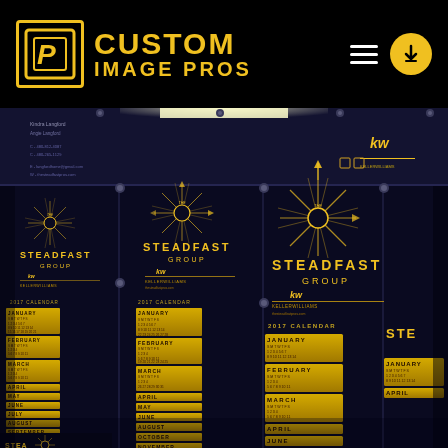[Figure (logo): Custom Image Pros logo — yellow square icon with letter P and bold yellow text reading CUSTOM IMAGE PROS on black background. Navigation hamburger menu icon and yellow download circle button on right side.]
[Figure (photo): Photograph of large-format printed calendar mailers for 'The Steadfast Group' Keller Williams real estate team. Dark navy/black background with gold text. Multiple calendars are shown side by side on a printing press or display table. Each calendar features the Steadfast Group starburst logo and a 2017 calendar grid with months January through December. The top edge shows contact information strips with the agents' names and phone numbers.]